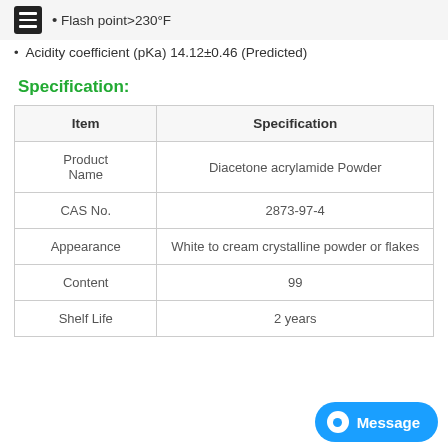Flash point>230°F
Acidity coefficient (pKa) 14.12±0.46 (Predicted)
Specification:
| Item | Specification |
| --- | --- |
| Product Name | Diacetone acrylamide Powder |
| CAS No. | 2873-97-4 |
| Appearance | White to cream crystalline powder or flakes |
| Content | 99% |
| Shelf Life | 2 years |